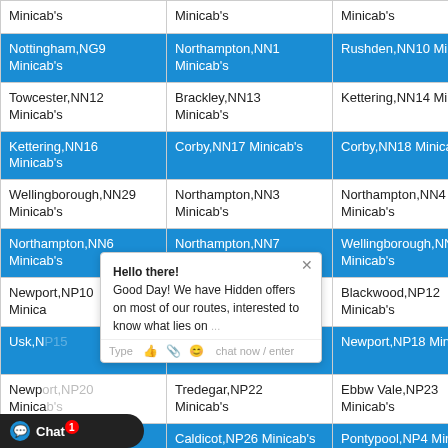| Minicab's | Minicab's | Minicab's |
| Nottingham,NG9 Minicab's | Northampton,NN1 Minicab's | Rushden,NN10 Minicab's |
| Towcester,NN12 Minicab's | Brackley,NN13 Minicab's | Kettering,NN14 Minicab's |
| Kettering,NN16 Minicab's | Corby,NN17 Minicab's | Corby,NN18 Minicab's |
| Wellingborough,NN29 Minicab's | Northampton,NN3 Minicab's | Northampton,NN4 Minicab's |
| Northampton,NN6 Minicab's | Northampton,NN7 Minicab's | Wellingborough,NN8 Minicab's |
| Newport,NP10 Minicab's | Newport,NP11 Minicab's | Blackwood,NP12 Minicab's |
| Usk,N[obscured] | Chepstow,NP16 Minicab's | Newport,NP18 Minicab's |
| Newport,NP[obscured] Minicab's | Tredegar,NP22 Minicab's | Ebbw Vale,NP23 Minicab's |
| Monm[obscured] Minicab's | Caldicot,NP26 Minicab's | Pontypool,NP4 Minicab's |
| Abergavenny,NP7 Minicab's | Crickhowell,NP8 Minicab's | Norwich,NR1 Minicab's |